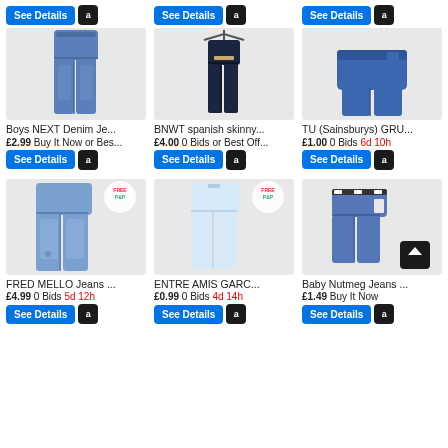[Figure (screenshot): E-commerce listing grid of children's jeans items with prices and buttons]
Boys NEXT Denim Je...
£2.99 Buy It Now or Bes...
BNWT spanish skinny...
£4.00 0 Bids or Best Off...
TU (Sainsburys) GRU...
£1.00 0 Bids 6d 10h
FRED MELLO Jeans ...
£4.99 0 Bids 5d 12h
ENTRE AMIS GARC...
£0.99 0 Bids 4d 14h
Baby Nutmeg Jeans ...
£1.49 Buy It Now